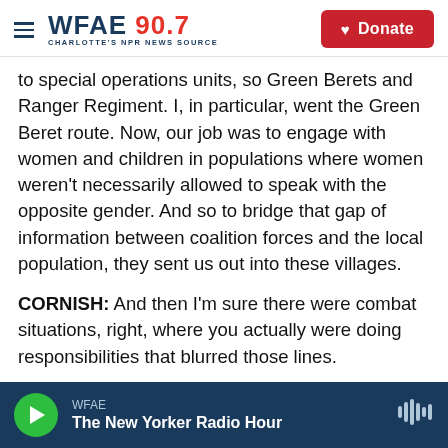WFAE 90.7 CHARLOTTE'S NPR NEWS SOURCE | Donate
to special operations units, so Green Berets and Ranger Regiment. I, in particular, went the Green Beret route. Now, our job was to engage with women and children in populations where women weren't necessarily allowed to speak with the opposite gender. And so to bridge that gap of information between coalition forces and the local population, they sent us out into these villages.
CORNISH: And then I'm sure there were combat situations, right, where you actually were doing responsibilities that blurred those lines.
WFAE | The New Yorker Radio Hour